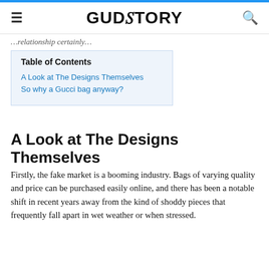GUDSTORY
…relationship certainly…
| Table of Contents |
| --- |
| A Look at The Designs Themselves |
| So why a Gucci bag anyway? |
A Look at The Designs Themselves
Firstly, the fake market is a booming industry. Bags of varying quality and price can be purchased easily online, and there has been a notable shift in recent years away from the kind of shoddy pieces that frequently fall apart in wet weather or when stressed.